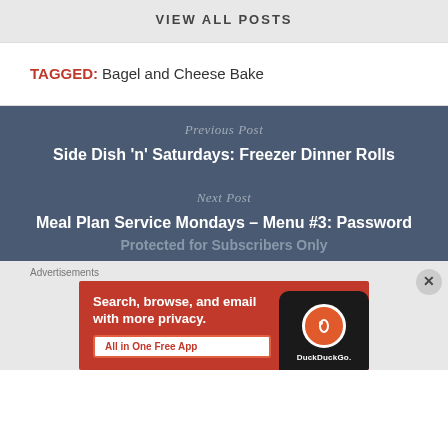VIEW ALL POSTS
TAGGED: Bagel and Cheese Bake
Previous Post
Side Dish 'n' Saturdays: Freezer Dinner Rolls
Next Post
Meal Plan Service Mondays – Menu #3: Password Protected for Subscribers Only
Advertisements
[Figure (screenshot): DuckDuckGo advertisement banner: orange background with text 'Search, browse, and email with more privacy. All in One Free App' and DuckDuckGo logo with phone image on right side.]